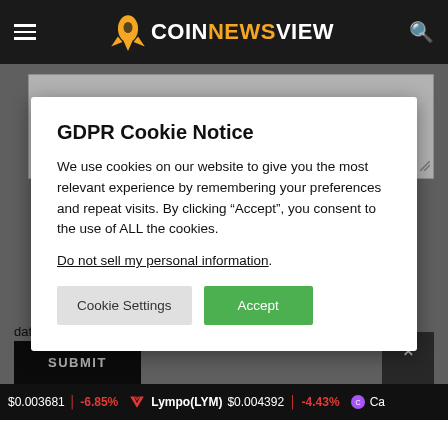COINNEWSVIEW
GDPR Cookie Notice
We use cookies on our website to give you the most relevant experience by remembering your preferences and repeat visits. By clicking “Accept”, you consent to the use of ALL the cookies.
Do not sell my personal information.
Cookie Settings  Accept
data by this website.
$0.003681  -6.85%   Lympo(LYM)  $0.004392  -4.43%   Ca